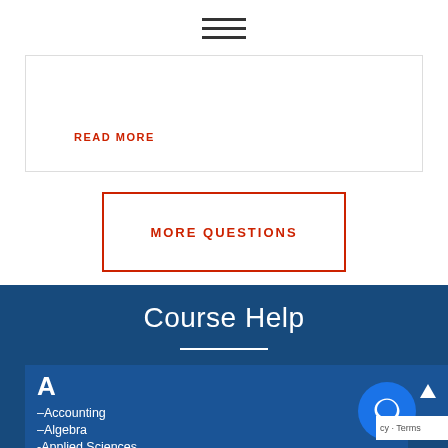[Figure (other): Hamburger menu icon with three horizontal lines]
READ MORE
MORE QUESTIONS
Course Help
A
–Accounting
–Algebra
-Applied Sciences
–Architecture and Design